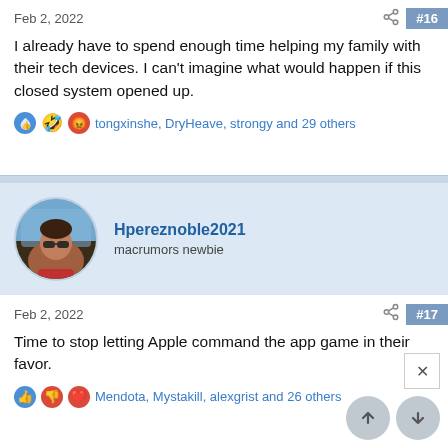Feb 2, 2022
#16
I already have to spend enough time helping my family with their tech devices. I can't imagine what would happen if this closed system opened up.
tongxinshe, DryHeave, strongy and 29 others
Hpereznoble2021
macrumors newbie
Feb 2, 2022
#17
Time to stop letting Apple command the app game in their favor.
Mendota, Mystakill, alexgrist and 26 others